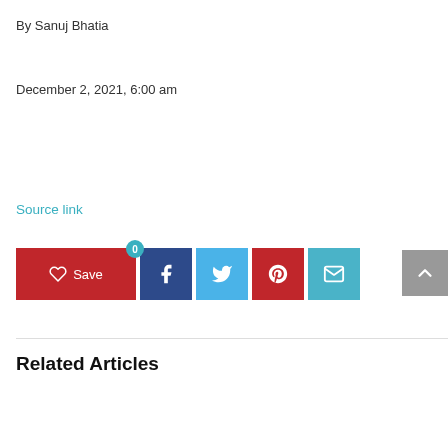By Sanuj Bhatia
December 2, 2021, 6:00 am
Source link
[Figure (other): Social share bar with Save button (red, heart icon, count 0), Facebook (dark blue), Twitter (light blue), Pinterest (red), Email (teal) icon buttons, and a grey scroll-to-top arrow button]
Related Articles